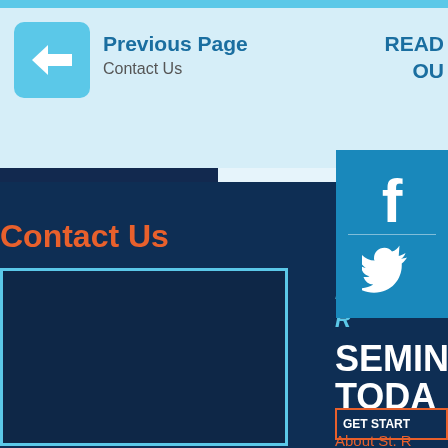[Figure (screenshot): Navigation UI element showing a back arrow icon in a teal rounded square button]
Previous Page
Contact Us
READ
OU
Contact Us
[Figure (logo): Facebook icon in white on teal background square]
[Figure (logo): Twitter bird icon in white on teal background]
RE
R
SEMIN
TODA
GET START
About St. R
Weigh...